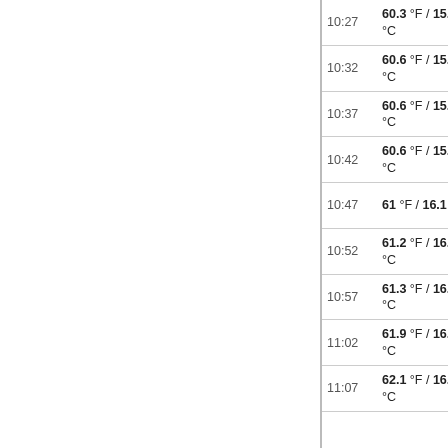| Time | Temp | Dew Point | Pressure | Wind |  |
| --- | --- | --- | --- | --- | --- |
| 10:27 | 60.3 °F / 15.7 °C | 55.8 °F / 13.2 °C | 30in / 1016.3hPa | ENE |  |
| 10:32 | 60.6 °F / 15.9 °C | 55.8 °F / 13.2 °C | 30in / 1016.3hPa | East |  |
| 10:37 | 60.6 °F / 15.9 °C | 55.4 °F / 13 °C | 30in / 1016.3hPa | ENE |  |
| 10:42 | 60.6 °F / 15.9 °C | 55.8 °F / 13.2 °C | 30in / 1016.3hPa | ENE |  |
| 10:47 | 61 °F / 16.1 °C | 55.8 °F / 13.2 °C | 30in / 1016.3hPa | ENE |  |
| 10:52 | 61.2 °F / 16.2 °C | 55.9 °F / 13.3 °C | 30in / 1016.3hPa | East |  |
| 10:57 | 61.3 °F / 16.3 °C | 56.1 °F / 13.4 °C | 30in / 1016.3hPa | East |  |
| 11:02 | 61.9 °F / 16.6 °C | 55.9 °F / 13.3 °C | 30in / 1016.3hPa | ENE |  |
| 11:07 | 62.1 °F / 16.7 °C | 56.1 °F / 13.4 °C | 30in / 1016.3hPa | Calm |  |